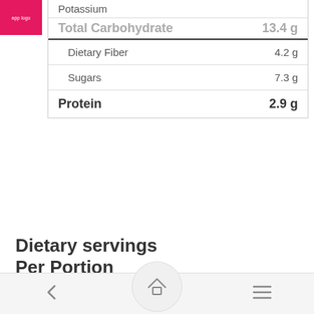[Figure (logo): Pink/magenta app logo box in top left corner]
| Potassium |  |
| Total Carbohydrate | 13.4 g |
| Dietary Fiber | 4.2 g |
| Sugars | 7.3 g |
| Protein | 2.9 g |
Dietary servings Per Portion
Vegetables    4.8
Energy sources
[Figure (pie-chart): Pie chart showing energy sources, partially visible, with 14% label visible in red/salmon slice]